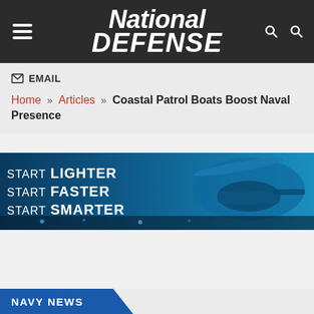National DEFENSE
EMAIL
Home » Articles » Coastal Patrol Boats Boost Naval Presence
[Figure (illustration): Advertisement banner with blue background and helicopter image. Text reads: START LIGHTER / START FASTER / START SMARTER]
NAVY NEWS